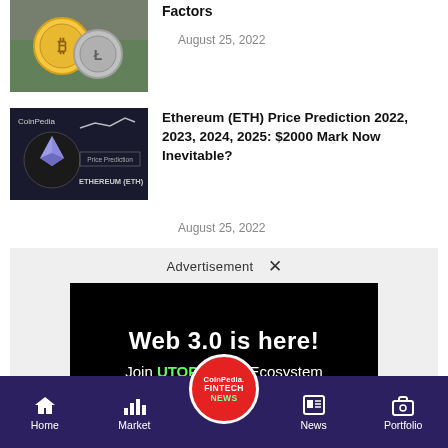[Figure (photo): Cryptocurrency coins (Bitcoin gold and silver Litecoin) on dollar bills background]
Factors
August 25, 2022
[Figure (photo): CoinPedia Ethereum (ETH) Price Prediction dark card with ETH logo and line chart]
Ethereum (ETH) Price Prediction 2022, 2023, 2024, 2025: $2000 Mark Now Inevitable?
August 25, 2022
[Figure (infographic): Advertisement banner - Web 3.0 is here! Join UTOPIA P2P Ecosystem]
Home | Market | CoinPedia FINTECH NEWS | News | Portfolio